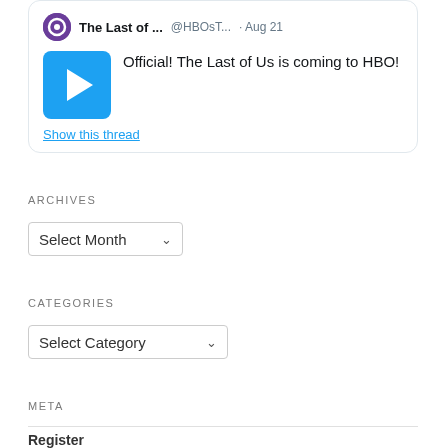[Figure (screenshot): Twitter/social media card showing 'The Last of ...' @HBOsT... · Aug 21, with play button thumbnail and text 'Official! The Last of Us is coming to HBO!' and a 'Show this thread' link]
ARCHIVES
Select Month
CATEGORIES
Select Category
META
Register